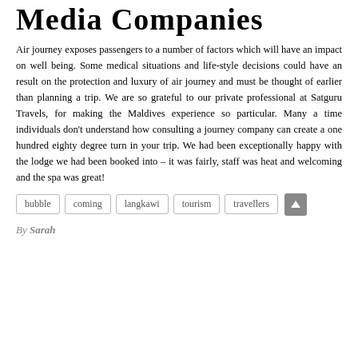Media Companies
Air journey exposes passengers to a number of factors which will have an impact on well being. Some medical situations and life-style decisions could have an result on the protection and luxury of air journey and must be thought of earlier than planning a trip. We are so grateful to our private professional at Satguru Travels, for making the Maldives experience so particular. Many a time individuals don't understand how consulting a journey company can create a one hundred eighty degree turn in your trip. We had been exceptionally happy with the lodge we had been booked into – it was fairly, staff was heat and welcoming and the spa was great!
bubble
coming
langkawi
tourism
travellers
By Sarah